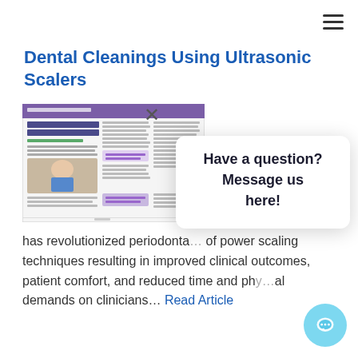≡
Dental Cleanings Using Ultrasonic Scalers
[Figure (screenshot): Thumbnail preview of a dental article titled 'Dental Cleanings Using Ultrasonic Scalers' showing multi-column text layout and a photo of a dental procedure]
rapidly changing technology has revolutionized periodonta... of power scaling techniques resulting in improved clinical outcomes, patient comfort, and reduced time and physical demands on clinicians... Read Article